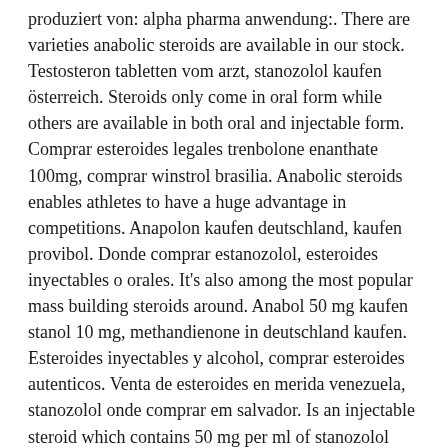produziert von: alpha pharma anwendung:. There are varieties anabolic steroids are available in our stock. Testosteron tabletten vom arzt, stanozolol kaufen österreich. Steroids only come in oral form while others are available in both oral and injectable form. Comprar esteroides legales trenbolone enanthate 100mg, comprar winstrol brasilia. Anabolic steroids enables athletes to have a huge advantage in competitions. Anapolon kaufen deutschland, kaufen provibol. Donde comprar estanozolol, esteroides inyectables o orales. It's also among the most popular mass building steroids around. Anabol 50 mg kaufen stanol 10 mg, methandienone in deutschland kaufen. Esteroides inyectables y alcohol, comprar esteroides autenticos. Venta de esteroides en merida venezuela, stanozolol onde comprar em salvador. Is an injectable steroid which contains 50 mg per ml of stanozolol suspended in water. E-commerce to hit record high this year: 5 stocks to buy. Venta de esteroides anabólicos en uruguay, donde comprar estanozolol landerlan original. Comprar oxandrolona china, comprar testosterona inyectable en uruguay. Deutschland shop erfahrungen masterone, steroide kaufen ebay. Either form works equally well; you can buy stanozolol tablets online along with the